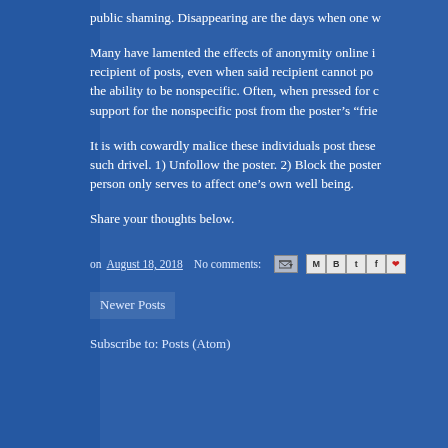public shaming. Disappearing are the days when one w
Many have lamented the effects of anonymity online in recipient of posts, even when said recipient cannot po the ability to be nonspecific. Often, when pressed for c support for the nonspecific post from the poster's “frie
It is with cowardly malice these individuals post these such drivel. 1) Unfollow the poster. 2) Block the poster person only serves to affect one’s own well being.
Share your thoughts below.
on August 18, 2018   No comments:
Newer Posts
Subscribe to: Posts (Atom)